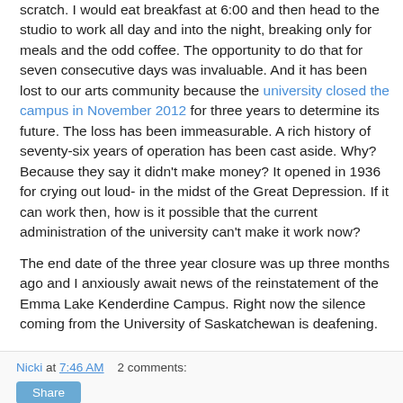scratch. I would eat breakfast at 6:00 and then head to the studio to work all day and into the night, breaking only for meals and the odd coffee. The opportunity to do that for seven consecutive days was invaluable. And it has been lost to our arts community because the university closed the campus in November 2012 for three years to determine its future. The loss has been immeasurable. A rich history of seventy-six years of operation has been cast aside. Why? Because they say it didn't make money? It opened in 1936 for crying out loud- in the midst of the Great Depression. If it can work then, how is it possible that the current administration of the university can't make it work now?
The end date of the three year closure was up three months ago and I anxiously await news of the reinstatement of the Emma Lake Kenderdine Campus. Right now the silence coming from the University of Saskatchewan is deafening.
Nicki at 7:46 AM    2 comments:   Share